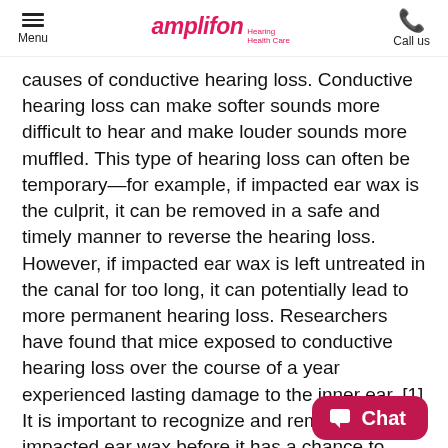Menu | amplifon Hearing Health Care | Call us
causes of conductive hearing loss. Conductive hearing loss can make softer sounds more difficult to hear and make louder sounds more muffled. This type of hearing loss can often be temporary—for example, if impacted ear wax is the culprit, it can be removed in a safe and timely manner to reverse the hearing loss. However, if impacted ear wax is left untreated in the canal for too long, it can potentially lead to more permanent hearing loss. Researchers have found that mice exposed to conductive hearing loss over the course of a year experienced lasting damage to the inner ear. [1] It is important to recognize and remove impacted ear wax before it has a chance to cause irreversible damage to your hearing health.
[Figure (other): Chat button widget at bottom right of page]